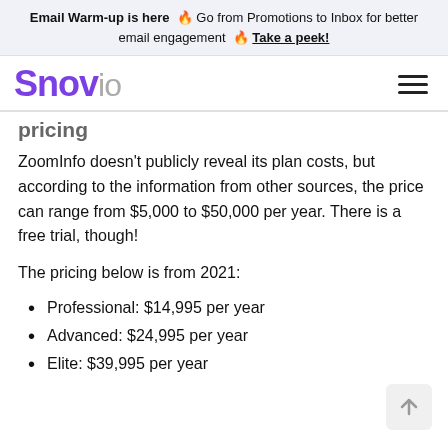Email Warm-up is here 🔥 Go from Promotions to Inbox for better email engagement 🔥 Take a peek!
[Figure (logo): Snov.io logo in purple and grey]
[partially visible heading text]
ZoomInfo doesn't publicly reveal its plan costs, but according to the information from other sources, the price can range from $5,000 to $50,000 per year. There is a free trial, though!
The pricing below is from 2021:
Professional: $14,995 per year
Advanced: $24,995 per year
Elite: $39,995 per year